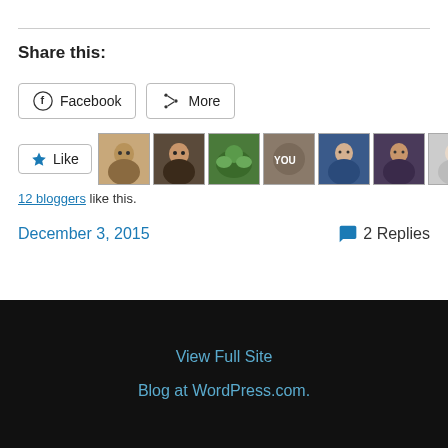Share this:
Facebook | More (share buttons)
[Figure (other): Like button with 12 blogger avatars row]
12 bloggers like this.
December 3, 2015    2 Replies
View Full Site
Blog at WordPress.com.